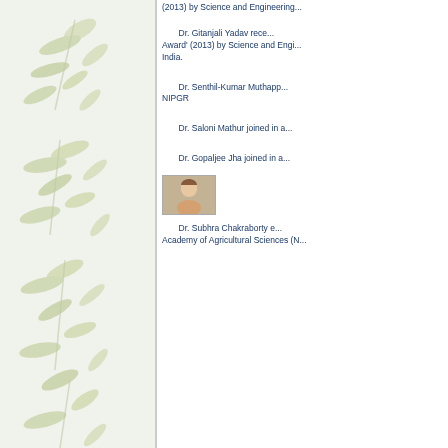[Figure (illustration): Decorative leaf/plant border on left side of page]
(2013) by Science and Engineering...
Dr. Gitanjali Yadav received 'Award' (2013) by Science and Engineering... India.
Dr. Senthil-Kumar Muthapp... NIPGR
Dr. Saloni Mathur joined in a...
Dr. Gopaljee Jha joined in a...
[Figure (photo): Portrait photo of a person]
Dr. Subhra Chakraborty e... Academy of Agricultural Sciences (N...